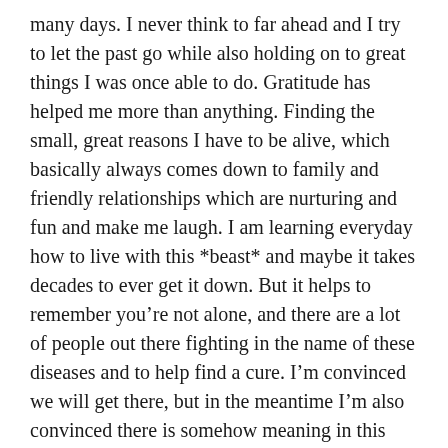many days. I never think to far ahead and I try to let the past go while also holding on to great things I was once able to do. Gratitude has helped me more than anything. Finding the small, great reasons I have to be alive, which basically always comes down to family and friendly relationships which are nurturing and fun and make me laugh. I am learning everyday how to live with this *beast* and maybe it takes decades to ever get it down. But it helps to remember you're not alone, and there are a lot of people out there fighting in the name of these diseases and to help find a cure. I'm convinced we will get there, but in the meantime I'm also convinced there is somehow meaning in this “sick life” that is just as important as a healthy persons, though it doesn’t often feel that way. Constantly battling pain is consuming and exhaustive, but being able to find small moments throughout the day where I'm grateful for things in my life that I really do feel fortunate for having (like my family, funny videos of